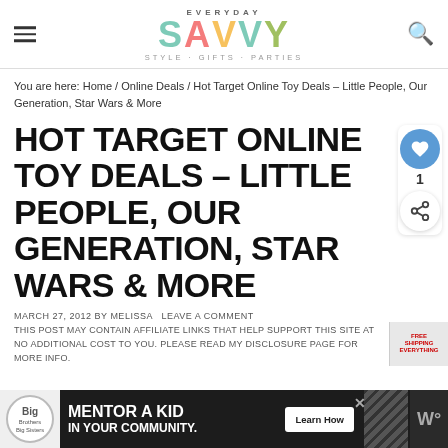EVERYDAY SAVVY — STYLE · GIFTS · PARTIES
You are here: Home / Online Deals / Hot Target Online Toy Deals – Little People, Our Generation, Star Wars & More
HOT TARGET ONLINE TOY DEALS – LITTLE PEOPLE, OUR GENERATION, STAR WARS & MORE
MARCH 27, 2012 BY MELISSA LEAVE A COMMENT
THIS POST MAY CONTAIN AFFILIATE LINKS THAT HELP SUPPORT THIS SITE AT NO ADDITIONAL COST TO YOU. PLEASE READ MY DISCLOSURE PAGE FOR MORE INFO.
[Figure (other): Advertisement banner: Big Brothers Big Sisters logo, 'MENTOR A KID IN YOUR COMMUNITY.' text, and Learn How button]